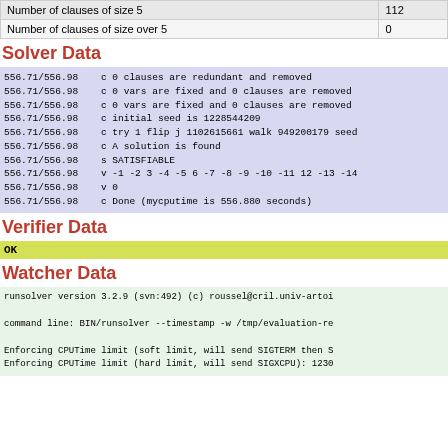| Number of clauses of size 5 | 112 |
| Number of clauses of size over 5 | 0 |
Solver Data
556.71/556.98   c 0 clauses are redundant and removed
556.71/556.98   c 0 vars are fixed and 0 clauses are removed
556.71/556.98   c 0 vars are fixed and 0 clauses are removed
556.71/556.98   c initial seed is 1228544209
556.71/556.98   c try 1 flip j 1102615661 walk 949200179 seed
556.71/556.98   c A solution is found
556.71/556.98   s SATISFIABLE
556.71/556.98   v -1 -2 3 -4 -5 6 -7 -8 -9 -10 -11 12 -13 -14
556.71/556.98   v 0
556.71/556.98   c Done (mycputime is 556.880 seconds)
Verifier Data
OK
Watcher Data
runsolver version 3.2.9 (svn:492) (c) roussel@cril.univ-artoi

command line: BIN/runsolver --timestamp -w /tmp/evaluation-re

Enforcing CPUTime limit (soft limit, will send SIGTERM then S
Enforcing CPUTime limit (hard limit, will send SIGXCPU): 1230